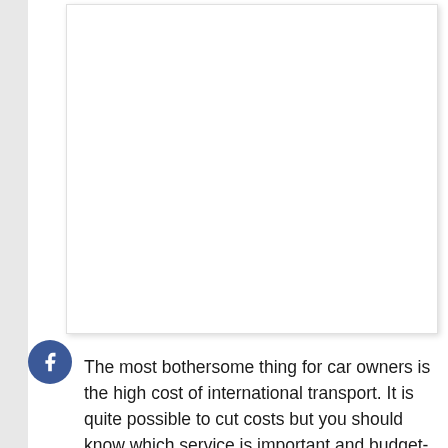[Figure (other): White box/card element with shadow, likely containing an image or advertisement placeholder]
The most bothersome thing for car owners is the high cost of international transport. It is quite possible to cut costs but you should know which service is important and budget-friendly.
The cost of international transport depends upon the type of vehicle you choose. The transportation company also provides the covered transporters for the safe delivery of the vehicles overseas.
It goes without saying that if you purchase extra insurance, your transportation costs will go through the